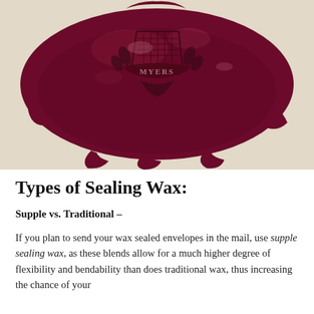[Figure (photo): Close-up photograph of a dark crimson/burgundy wax seal on a cream-colored surface. The seal bears an embossed coat of arms or crest design with text reading 'MYERS' on a banner. The wax has spread unevenly around the edges of the seal impression.]
Types of Sealing Wax:
Supple vs. Traditional –
If you plan to send your wax sealed envelopes in the mail, use supple sealing wax, as these blends allow for a much higher degree of flexibility and bendability than does traditional wax, thus increasing the chance of your